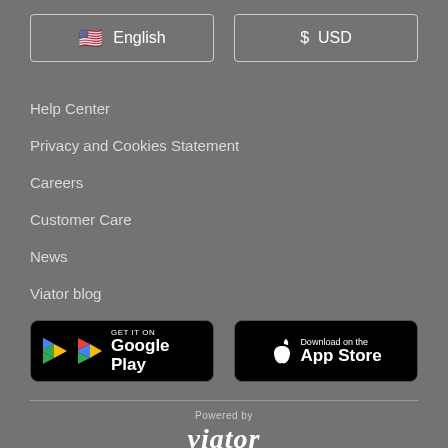[Figure (screenshot): Language selector button showing US flag emoji and 'English' text, and currency selector showing '$ USD', both with white borders on grey background]
Help Center
Privacy and Cookies Statement
Careers
Customer Care
News
Viator blog
[Figure (logo): GET IT ON Google Play button - black rounded rectangle with Google Play triangle icon and text]
[Figure (logo): Download on the App Store button - black rounded rectangle with Apple logo and text]
Powered by
[Figure (logo): Viator logo text in white italic serif font]